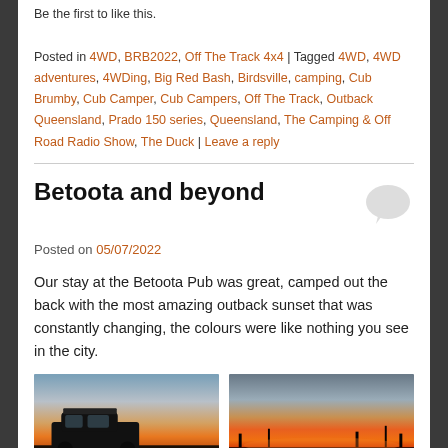Be the first to like this.
Posted in 4WD, BRB2022, Off The Track 4x4 | Tagged 4WD, 4WD adventures, 4WDing, Big Red Bash, Birdsville, camping, Cub Brumby, Cub Camper, Cub Campers, Off The Track, Outback Queensland, Prado 150 series, Queensland, The Camping & Off Road Radio Show, The Duck | Leave a reply
Betoota and beyond
Posted on 05/07/2022
Our stay at the Betoota Pub was great, camped out the back with the most amazing outback sunset that was constantly changing, the colours were like nothing you see in the city.
[Figure (photo): 4WD vehicle silhouetted against an outback sunset with orange and golden sky]
[Figure (photo): Outback sunset with vivid orange and red sky on the horizon, silhouetted landscape]